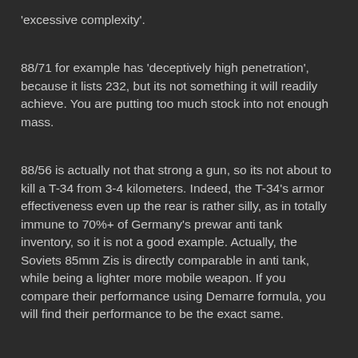'excessive complexity'.
88/71 for example has 'deceptively high penetration', because it lists 232, but its not something it will readily achieve. You are putting too much stock into not enough mass.
88/56 is actually not that strong a gun, so its not about to kill a T-34 from 3-4 kilometers. Indeed, the T-34's armor effectiveness even up the rear is rather silly, as in totally immune to 70%+ of Germany's prewar anti tank inventory, so it is not a good example. Actually, the Soviets 85mm Zis is directly comparable in anti tank, while being a lighter more mobile weapon. If you compare their performance using Demarre formula, you will find their performance to be the exact same.
And HESH works differently IRL than you would expect. If the target armor isn't going to be overmatched by the sheer